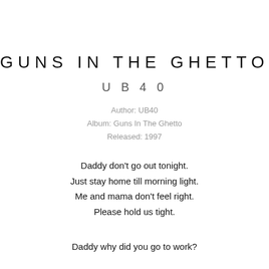GUNS IN THE GHETTO
UB40
Author: UB40
Album: Guns In The Ghetto
Released: 1997
Daddy don't go out tonight.
Just stay home till morning light.
Me and mama don't feel right.
Please hold us tight.
Daddy why did you go to work?